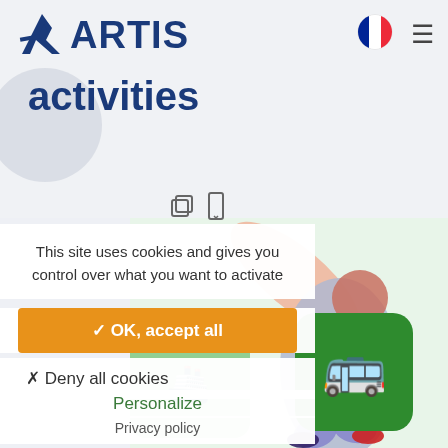[Figure (logo): Artis logo with stylized A and text ARTIS in dark blue]
[Figure (photo): French flag circular icon in top right corner]
activities
[Figure (illustration): Share and bookmark icons row]
This site uses cookies and gives you control over what you want to activate
✓ OK, accept all
✗ Deny all cookies
Personalize
Privacy policy
[Figure (illustration): Background illustration with animated character carrying luggage and green transport icons]